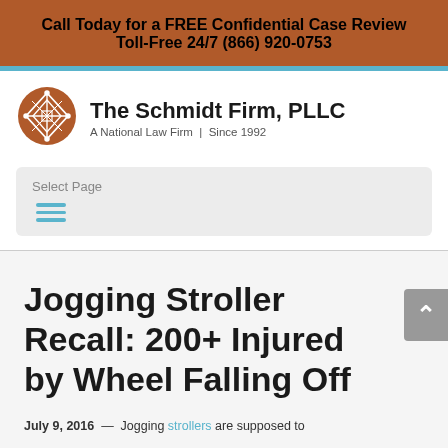Call Today for a FREE Confidential Case Review
Toll-Free 24/7 (866) 920-0753
[Figure (logo): The Schmidt Firm, PLLC logo — orange circle with decorative cross/snowflake pattern in white]
The Schmidt Firm, PLLC
A National Law Firm | Since 1992
Select Page
Jogging Stroller Recall: 200+ Injured by Wheel Falling Off
July 9, 2016 — Jogging strollers are supposed to